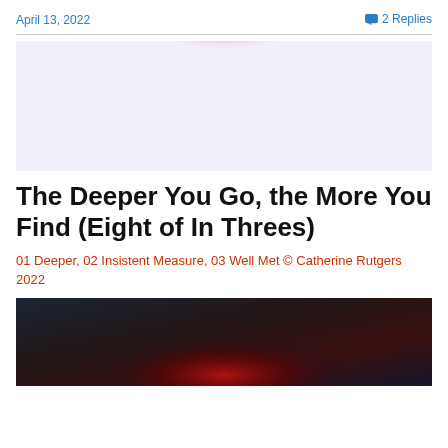April 13, 2022
2 Replies
[Figure (illustration): Abstract light art image showing a soft rainbow/prismatic glow at the top center on a pale lavender-white gradient background]
The Deeper You Go, the More You Find (Eight of In Threes)
01 Deeper, 02 Insistent Measure, 03 Well Met © Catherine Rutgers 2022
[Figure (illustration): Abstract dark art image with deep blue-navy background and a red-crimson glowing area in the center-lower area]